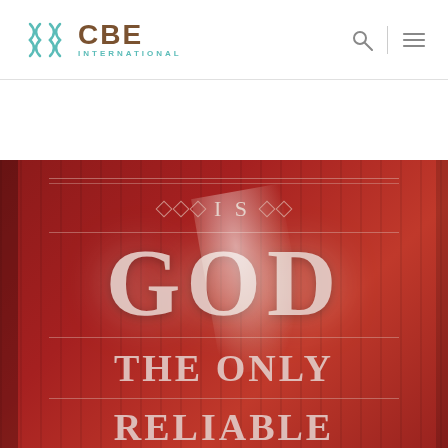CBE INTERNATIONAL
[Figure (photo): Book cover on a red background showing the partial title text: 'Is GOD THE ONLY RELIABLE FATHERS...' in large serif lettering with decorative diamond ornaments and horizontal rules]